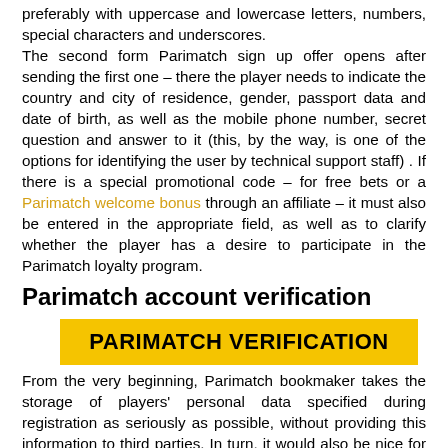preferably with uppercase and lowercase letters, numbers, special characters and underscores. The second form Parimatch sign up offer opens after sending the first one – there the player needs to indicate the country and city of residence, gender, passport data and date of birth, as well as the mobile phone number, secret question and answer to it (this, by the way, is one of the options for identifying the user by technical support staff) . If there is a special promotional code – for free bets or a Parimatch welcome bonus through an affiliate – it must also be entered in the appropriate field, as well as to clarify whether the player has a desire to participate in the Parimatch loyalty program.
Parimatch account verification
[Figure (other): Yellow banner with bold black text reading PARIMATCH VERIFICATION]
From the very beginning, Parimatch bookmaker takes the storage of players' personal data specified during registration as seriously as possible, without providing this information to third parties. In turn, it would also be nice for users of the Parimatch website to understand that the registration data – full name, gender, date of birth, address and phone number – must be up to date. It is impossible to